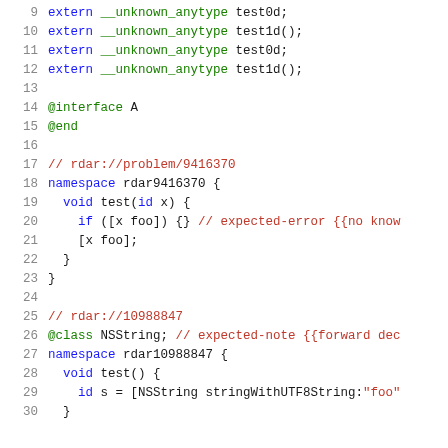Source code listing lines 9-30, Objective-C/C++ code with syntax highlighting showing extern declarations, @interface, namespace rdar9416370, and namespace rdar10988847